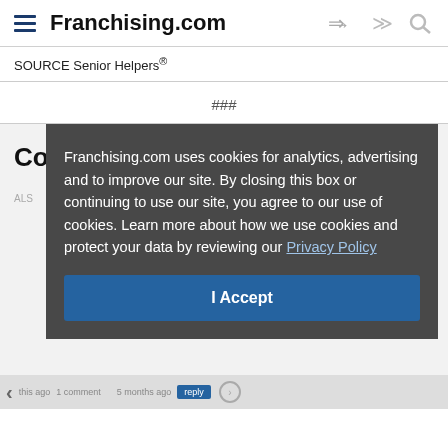Franchising.com
SOURCE Senior Helpers®
###
[Figure (screenshot): Cookie consent overlay popup on Franchising.com website. Dark gray overlay with text: 'Franchising.com uses cookies for analytics, advertising and to improve our site. By closing this box or continuing to use our site, you agree to our use of cookies. Learn more about how we use cookies and protect your data by reviewing our Privacy Policy'. Blue 'I Accept' button below.]